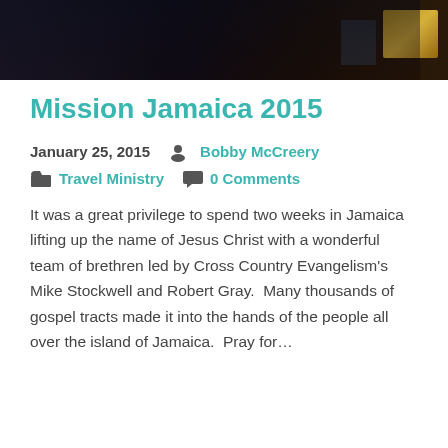[Figure (photo): Dark photograph strip showing a dimly lit scene with dark tones, a golden/yellow object on the right side]
Mission Jamaica 2015
January 25, 2015  Bobby McCreery
Travel Ministry  0 Comments
It was a great privilege to spend two weeks in Jamaica lifting up the name of Jesus Christ with a wonderful team of brethren led by Cross Country Evangelism's Mike Stockwell and Robert Gray.  Many thousands of gospel tracts made it into the hands of the people all over the island of Jamaica.  Pray for…